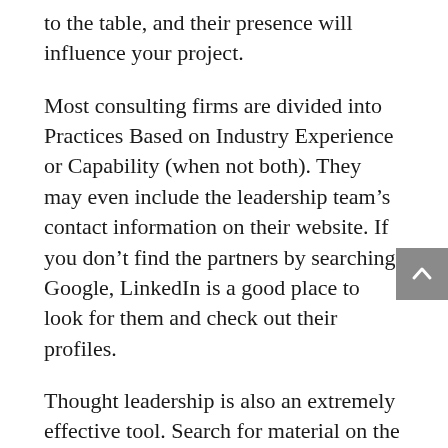to the table, and their presence will influence your project.
Most consulting firms are divided into Practices Based on Industry Experience or Capability (when not both). They may even include the leadership team’s contact information on their website. If you don’t find the partners by searching Google, LinkedIn is a good place to look for them and check out their profiles.
Thought leadership is also an extremely effective tool. Search for material on the subject of your project to find articles or white papers. In most consulting firms, the authors’ names and their contact information may often be found in the papers.
You should now have a list of consulting firms that have, at least on paper, the right people with the right skills in the right place. Your next step is to connect